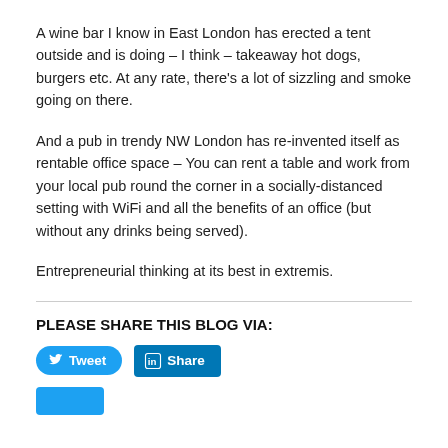A wine bar I know in East London has erected a tent outside and is doing – I think – takeaway hot dogs, burgers etc. At any rate, there's a lot of sizzling and smoke going on there.
And a pub in trendy NW London has re-invented itself as rentable office space – You can rent a table and work from your local pub round the corner in a socially-distanced setting with WiFi and all the benefits of an office (but without any drinks being served).
Entrepreneurial thinking at its best in extremis.
PLEASE SHARE THIS BLOG VIA:
[Figure (other): Tweet button (Twitter/X blue rounded button with bird icon and 'Tweet' label) and Share button (LinkedIn blue square button with 'in' icon and 'Share' label)]